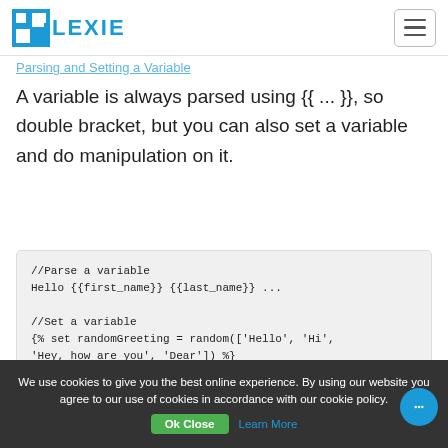FLEXIE
Parsing and Setting a Variable
A variable is always parsed using {{ ... }}, so double bracket, but you can also set a variable and do manipulation on it.
We use cookies to give you the best online experience. By using our website you agree to our use of cookies in accordance with our cookie policy.